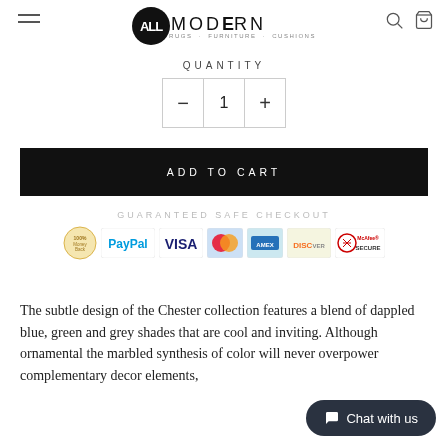AllModern RUGS · FURNITURE · CUSHIONS
QUANTITY
- 1 +
ADD TO CART
GUARANTEED SAFE CHECKOUT
[Figure (infographic): Payment method icons: PayPal, VISA, Mastercard, American Express, Discover, McAfee SECURE]
The subtle design of the Chester collection features a blend of dappled blue, green and grey shades that are cool and inviting. Although ornamental the marbled synthesis of color will never overpower complementary decor elements,